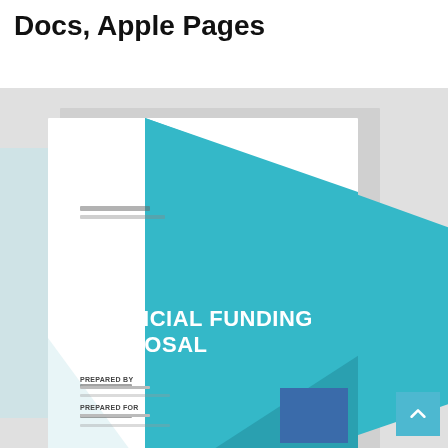Docs, Apple Pages
[Figure (illustration): Preview of a Financial Funding Proposal document template cover page with teal geometric triangle design, showing placeholder text 'FINANCIAL FUNDING PROPOSAL', 'PREPARED BY', 'PREPARED FOR', and a small blue rectangle accent. The cover is shown as a layered document preview on a grey background.]